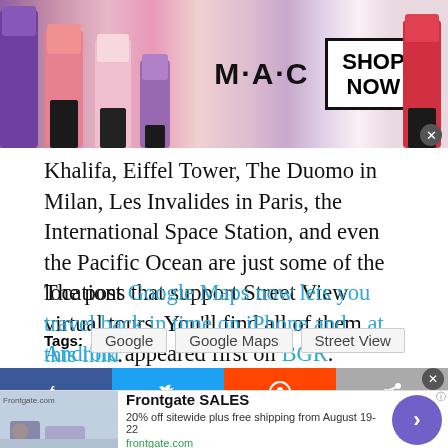[Figure (photo): MAC cosmetics advertisement banner with lipstick tubes in purple, pink and red colors, MAC logo, and SHOP NOW button in a box]
Khalifa, Eiffel Tower, The Duomo in Milan, Les Invalides in Paris, the International Space Station, and even the Pacific Ocean are just some of the locations that support Street View virtual tours. You'll find all of them at this link.
The post Google Maps now lets you travel back in time on iPhone and Android appeared first on BGR.
Tags: Google   Google Maps   Street View
[Figure (other): Social media share buttons row: Facebook (blue), Twitter (blue), Reddit (orange), Share (grey)]
[Figure (other): Frontgate SALES advertisement: 20% off sitewide plus free shipping from August 19-22, frontgate.com, with outdoor furniture image and purple arrow CTA button]